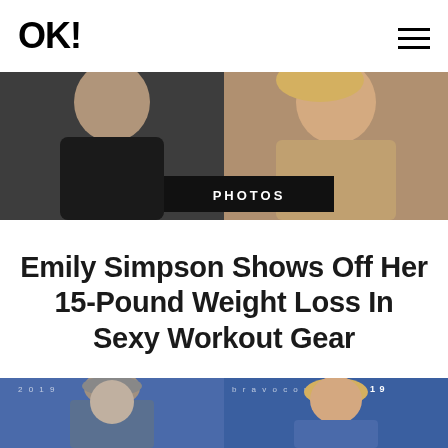OK!
[Figure (photo): Two people side by side — person in dark clothing on left, blonde woman on right, with a black PHOTOS badge overlaid at bottom center]
Emily Simpson Shows Off Her 15-Pound Weight Loss In Sexy Workout Gear
[Figure (photo): Two people at BravoCon 2019 event — man with gray hair on blue background on left, blonde woman on blue background on right]